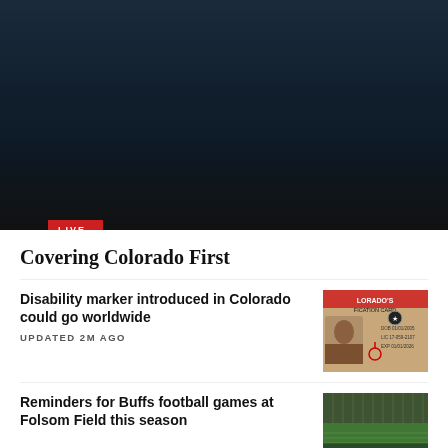LIVE NOW ON CBS NEWS
CBS News Colorado: Local News, Weather & More
Covering Colorado First
Disability marker introduced in Colorado could go worldwide
UPDATED 2M AGO
[Figure (photo): Colorado ID card with disability marker highlighted]
Reminders for Buffs football games at Folsom Field this season
[Figure (photo): Folsom Field football stadium aerial view]